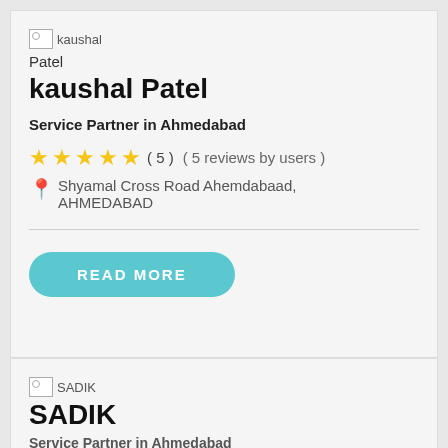[Figure (photo): Small broken image icon with alt text 'kaushal']
Patel
kaushal Patel
Service Partner in Ahmedabad
★★★★★ ( 5 ) ( 5 reviews by users )
📍 Shyamal Cross Road Ahemdabaad, AHMEDABAD
READ MORE
[Figure (photo): Small broken image icon with alt text 'SADIK']
SADIK
CALL US NOW
Service Partner in Ahmedabad